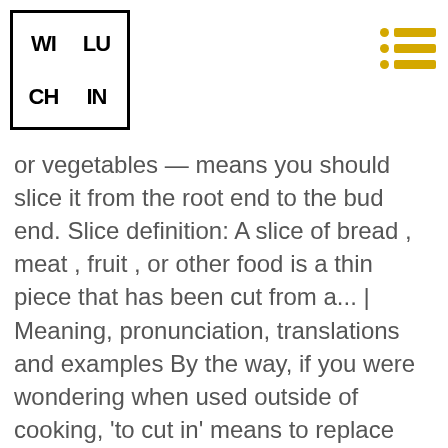WILU CHIN [logo] [hamburger menu]
or vegetables — means you should slice it from the root end to the bud end. Slice definition: A slice of bread , meat , fruit , or other food is a thin piece that has been cut from a... | Meaning, pronunciation, translations and examples By the way, if you were wondering when used outside of cooking, 'to cut in' means to replace someone as a dance partner or to insert yourself into a line of waiting people instead of going to the end of the line. This gelatin provides not only body to the cooking liquid but also, more importantly, moisture to the cooked meat and rich flavour. Appearing to be mass-produced; identical in appearance: cookie-cutter tract housing in suburbia. To cut or chop food as finely as possible. You need to chop vegetables, most often onions and garlic, for many different cooking techniques, including sautéing. From one pole to the other. I realized how confusing this term must be to novice cooks and especially to non-native English speakers. What is the definition of cut